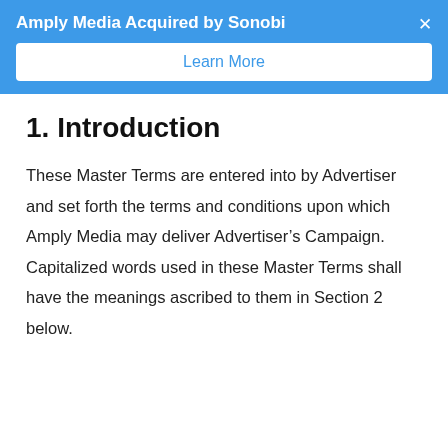Amply Media Acquired by Sonobi
Learn More
1. Introduction
These Master Terms are entered into by Advertiser and set forth the terms and conditions upon which Amply Media may deliver Advertiser’s Campaign. Capitalized words used in these Master Terms shall have the meanings ascribed to them in Section 2 below.